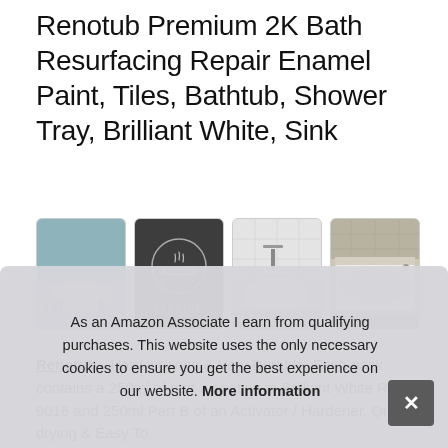Renotub Premium 2K Bath Resurfacing Repair Enamel Paint, Tiles, Bathtub, Shower Tray, Brilliant White, Sink
[Figure (photo): Four product images: freestanding bathtub lifestyle photo, Renotub brand logo on dark background, white freestanding bathtub close-up, inset bathtub in tiled bathroom]
Renotub - Hard wearing & Very Durable. Each pack contains a 250ml of part a coating in Brilliant White Ral 9016 and 250ml Part B of an Activator / Hardener. Quick drying & Easy To App... bath...
As an Amazon Associate I earn from qualifying purchases. This website uses the only necessary cookies to ensure you get the best experience on our website. More information